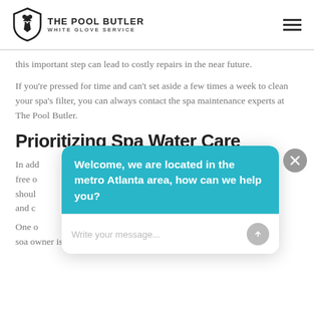THE POOL BUTLER WHITE GLOVE SERVICE
this important step can lead to costly repairs in the near future.
If you're pressed for time and can't set aside a few times a week to clean your spa's filter, you can always contact the spa maintenance experts at The Pool Butler.
Prioritizing Spa Water Care
In add... free o... shoul... and c...
One o... soa owner is checking the soa's water levels
[Figure (screenshot): Chat widget overlay with teal/cyan header bubble reading 'Welcome, we are located in the metro Atlanta area, how can we help you?' and a text input field with placeholder 'Write your message...' and a send button. A close (X) button appears in the top-right corner.]